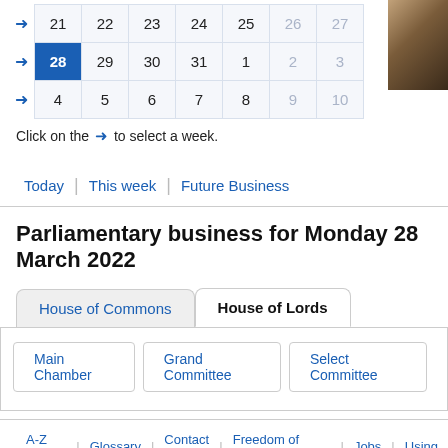|  | Mon | Tue | Wed | Thu | Fri | Sat | Sun |
| --- | --- | --- | --- | --- | --- | --- | --- |
| → | 21 | 22 | 23 | 24 | 25 | 26 | 27 |
| → | 28 | 29 | 30 | 31 | 1 | 2 | 3 |
| → | 4 | 5 | 6 | 7 | 8 | 9 | 10 |
Click on the → to select a week.
Today
This week
Future Business
Parliamentary business for Monday 28 March 2022
House of Commons
House of Lords
Main Chamber
Grand Committee
Select Committee
A-Z index | Glossary | Contact us | Freedom of Information | Jobs | Using